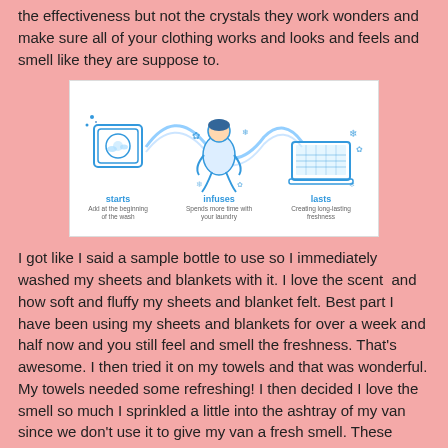the effectiveness but not the crystals they work wonders and make sure all of your clothing works and looks and feels and smell like they are suppose to.
[Figure (infographic): Three-step infographic showing how the laundry product works: 'starts' (Add at the beginning of the wash), 'infuses' (Spends more time with your laundry), 'lasts' (Creating long-lasting freshness). Illustrated with a washing machine, a person, and a laptop with blue swirl graphics.]
I got like I said a sample bottle to use so I immediately washed my sheets and blankets with it. I love the scent  and how soft and fluffy my sheets and blanket felt. Best part I have been using my sheets and blankets for over a week and half now and you still feel and smell the freshness. That's awesome. I then tried it on my towels and that was wonderful. My towels needed some refreshing! I then decided I love the smell so much I sprinkled a little into the ashtray of my van since we don't use it to give my van a fresh smell. These really are my new best friend. I cant wait to try the Lavender.